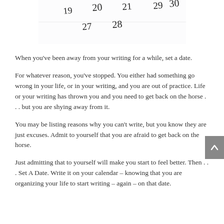[Figure (photo): A partial calendar showing dates 19, 20, 21, 27, 28, 29, 30 in a handwritten/printed style, white background with light gray border.]
When you've been away from your writing for a while, set a date.
For whatever reason, you've stopped. You either had something go wrong in your life, or in your writing, and you are out of practice. Life or your writing has thrown you and you need to get back on the horse . . . but you are shying away from it.
You may be listing reasons why you can't write, but you know they are just excuses. Admit to yourself that you are afraid to get back on the horse.
Just admitting that to yourself will make you start to feel better. Then . . . Set A Date. Write it on your calendar – knowing that you are organizing your life to start writing – again – on that date.